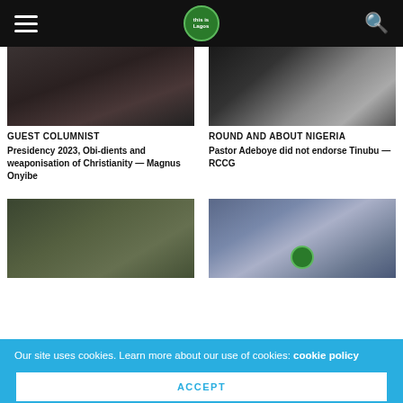This Is Lagos — navigation header
[Figure (photo): Blurred dark photo of a person, associated with Guest Columnist article]
GUEST COLUMNIST
Presidency 2023, Obi-dients and weaponisation of Christianity — Magnus Onyibe
[Figure (photo): Blurred dark photo associated with Round and About Nigeria article]
ROUND AND ABOUT NIGERIA
Pastor Adeboye did not endorse Tinubu — RCCG
[Figure (photo): Blurred greenish photo, bottom left article]
[Figure (photo): Blurred blue-green photo with circular logo element, bottom right article]
Our site uses cookies. Learn more about our use of cookies: cookie policy
ACCEPT